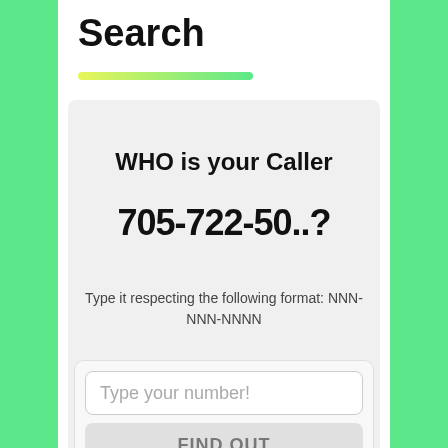Search
[Figure (other): Gradient bar from yellow-green to green]
WHO is your Caller
705-722-50..?
Type it respecting the following format: NNN-NNN-NNNN
Type your number!
FIND OUT